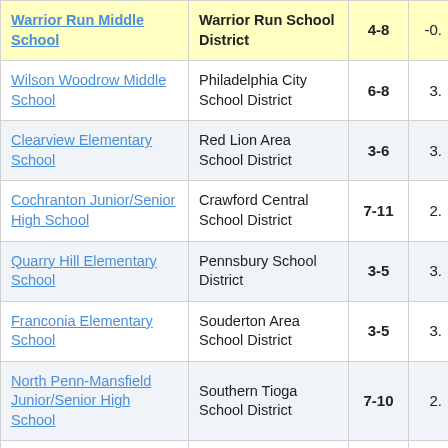| School | District | Grades | Value |
| --- | --- | --- | --- |
| Warrior Run Middle School | Warrior Run School District | 4-8 | -0. |
| Wilson Woodrow Middle School | Philadelphia City School District | 6-8 | 3. |
| Clearview Elementary School | Red Lion Area School District | 3-6 | 3. |
| Cochranton Junior/Senior High School | Crawford Central School District | 7-11 | 2. |
| Quarry Hill Elementary School | Pennsbury School District | 3-5 | 3. |
| Franconia Elementary School | Souderton Area School District | 3-5 | 3. |
| North Penn-Mansfield Junior/Senior High School | Southern Tioga School District | 7-10 | 2. |
| Economy | Ambridge Area | 3-5 |  |